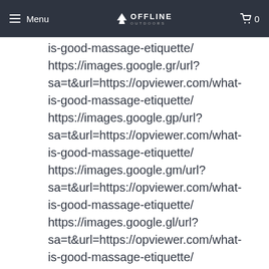Menu | OFFLINE OUTDOORS | 0
is-good-massage-etiquette/ https://images.google.gr/url?sa=t&url=https://opviewer.com/what-is-good-massage-etiquette/ https://images.google.gp/url?sa=t&url=https://opviewer.com/what-is-good-massage-etiquette/ https://images.google.gm/url?sa=t&url=https://opviewer.com/what-is-good-massage-etiquette/ https://images.google.gl/url?sa=t&url=https://opviewer.com/what-is-good-massage-etiquette/ https://images.google.ga/url?